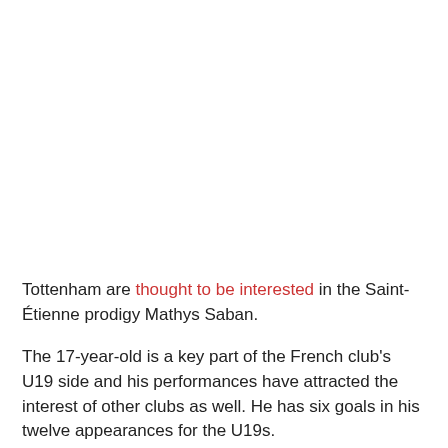Tottenham are thought to be interested in the Saint-Étienne prodigy Mathys Saban.
The 17-year-old is a key part of the French club's U19 side and his performances have attracted the interest of other clubs as well. He has six goals in his twelve appearances for the U19s.